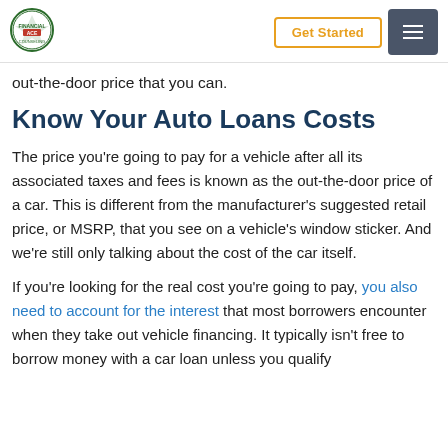Get Started [menu button]
out-the-door price that you can.
Know Your Auto Loans Costs
The price you're going to pay for a vehicle after all its associated taxes and fees is known as the out-the-door price of a car. This is different from the manufacturer's suggested retail price, or MSRP, that you see on a vehicle's window sticker. And we're still only talking about the cost of the car itself.
If you're looking for the real cost you're going to pay, you also need to account for the interest that most borrowers encounter when they take out vehicle financing. It typically isn't free to borrow money with a car loan unless you qualify